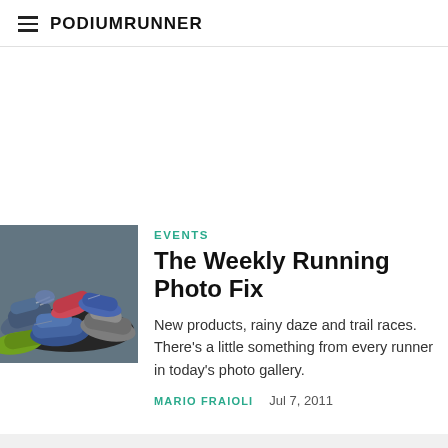PodiumRunner
[Figure (photo): Pile of colorful running shoes stacked together]
EVENTS
The Weekly Running Photo Fix
New products, rainy daze and trail races. There's a little something from every runner in today's photo gallery.
MARIO FRAIOLI   Jul 7, 2011